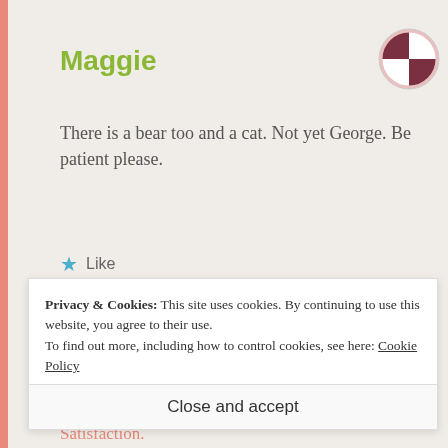Maggie
There is a bear too and a cat. Not yet George. Be patient please.
★ Like
↳ LOG IN TO REPLY
AUGUST 11, 2013 AT 9:13 AM
Privacy & Cookies: This site uses cookies. By continuing to use this website, you agree to their use.
To find out more, including how to control cookies, see here: Cookie Policy
Close and accept
Satisfaction.